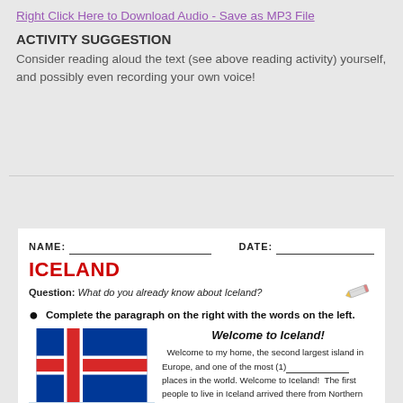Right Click Here to Download Audio - Save as MP3 File
ACTIVITY SUGGESTION
Consider reading aloud the text (see above reading activity) yourself, and possibly even recording your own voice!
[Figure (other): Worksheet with Iceland flag, photo of person in winter hat, fill-in-the-blank text about Iceland]
NAME: ___________________________ DATE: _______________
ICELAND
Question: What do you already know about Iceland?
Complete the paragraph on the right with the words on the left.
Welcome to Iceland!
Welcome to my home, the second largest island in Europe, and one of the most (1)____________ places in the world. Welcome to Iceland!  The first people to live in Iceland arrived there from Northern Europe about 1,200 years ago.  First Norway and then Denmark (2)___________ Iceland for